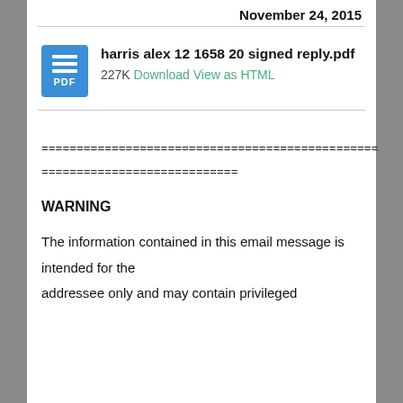November 24, 2015
[Figure (other): PDF attachment icon with horizontal lines and PDF label in blue]
harris alex 12 1658 20 signed reply.pdf
227K Download View as HTML
================================================
============================
WARNING
The information contained in this email message is intended for the addressee only and may contain privileged